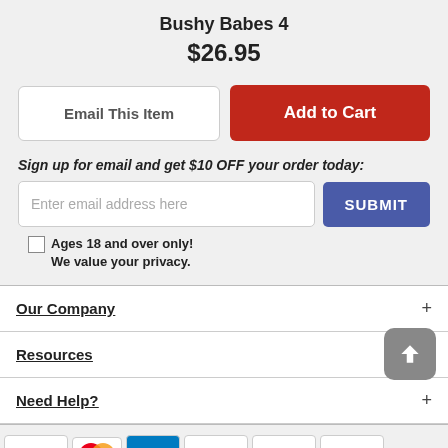Bushy Babes 4
$26.95
Email This Item
Add to Cart
Sign up for email and get $10 OFF your order today:
Enter email address here
SUBMIT
Ages 18 and over only! We value your privacy.
Our Company
Resources
Need Help?
[Figure (other): Payment method icons: Visa, Mastercard, American Express, Discover, PayPal, Amazon Payments]
18 U.S.C Section 2257 Compliance Notice - All Models are 18+